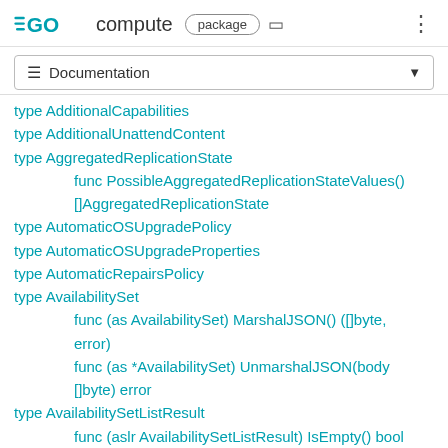GO compute package
≡ Documentation
type AdditionalCapabilities
type AdditionalUnattendContent
type AggregatedReplicationState
func PossibleAggregatedReplicationStateValues() []AggregatedReplicationState
type AutomaticOSUpgradePolicy
type AutomaticOSUpgradeProperties
type AutomaticRepairsPolicy
type AvailabilitySet
func (as AvailabilitySet) MarshalJSON() ([]byte, error)
func (as *AvailabilitySet) UnmarshalJSON(body []byte) error
type AvailabilitySetListResult
func (aslr AvailabilitySetListResult) IsEmpty() bool